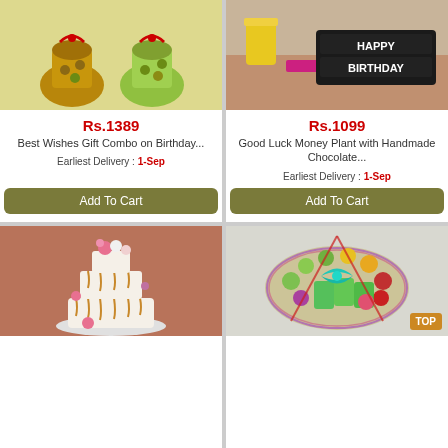[Figure (photo): Two gift bags with nuts/dry fruits tied with red ribbons on yellow background]
Rs.1389
Best Wishes Gift Combo on Birthday...
Earliest Delivery : 1-Sep
Add To Cart
[Figure (photo): Happy Birthday chocolate slab on a table with yellow vase and pink book]
Rs.1099
Good Luck Money Plant with Handmade Chocolate...
Earliest Delivery : 1-Sep
Add To Cart
[Figure (photo): Three-tier white drip cake with pink and yellow flowers on orange background]
[Figure (photo): Round fruit basket wrapped in colorful cellophane with teal bow, TOP badge visible]